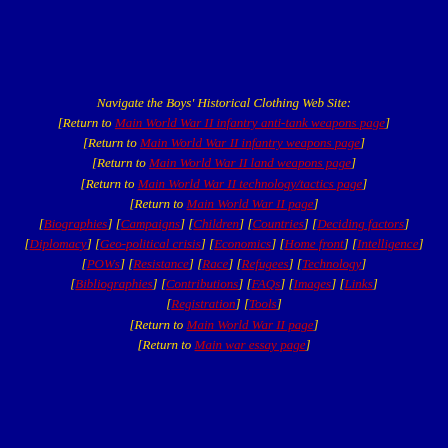Navigate the Boys' Historical Clothing Web Site: [Return to Main World War II infantry anti-tank weapons page] [Return to Main World War II infantry weapons page] [Return to Main World War II land weapons page] [Return to Main World War II technology/tactics page] [Return to Main World War II page] [Biographies] [Campaigns] [Children] [Countries] [Deciding factors] [Diplomacy] [Geo-political crisis] [Economics] [Home front] [Intelligence] [POWs] [Resistance] [Race] [Refugees] [Technology] [Bibliographies] [Contributions] [FAQs] [Images] [Links] [Registration] [Tools] [Return to Main World War II page] [Return to Main war essay page]